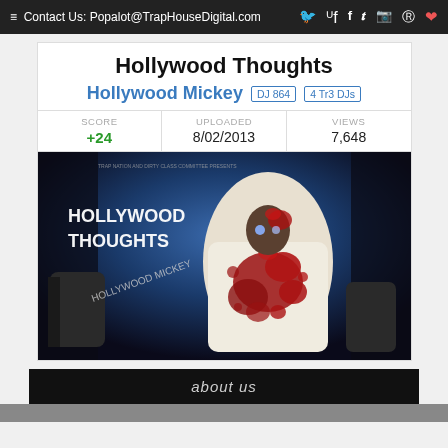Contact Us: Popalot@TrapHouseDigital.com
Hollywood Thoughts
Hollywood Mickey  DJ 864  4 Tr3 DJs
| SCORE | UPLOADED | VIEWS |
| --- | --- | --- |
| +24 | 8/02/2013 | 7,648 |
[Figure (photo): Album art for Hollywood Thoughts by Hollywood Mickey — person in white t-shirt covered in red paint/blood, with 'HOLLYWOOD THOUGHTS' and 'HOLLYWOOD MICKEY' text overlay on dark blue background]
about us